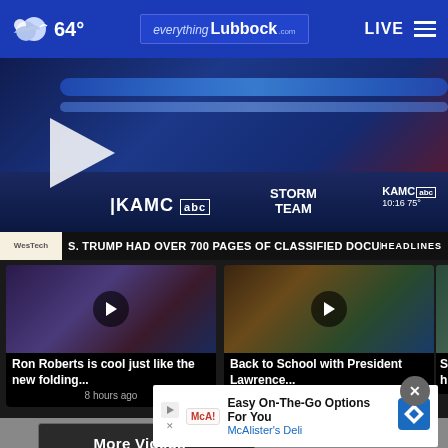64° everything Lubbock .com LIVE
[Figure (screenshot): KAMC ABC news broadcast with Storm Team ticker showing: TRUMP HAD OVER 700 PAGES OF CLASSIFIED DOCUMENTS AT MA... HEADLINES]
[Figure (screenshot): Video thumbnail: Ron Roberts is cool just like the new folding... - news anchors in studio]
Ron Roberts is cool just like the new folding...
8 hours ago
[Figure (screenshot): Video thumbnail: Back to School with President Lawrence... - man in suit]
Back to School with President Lawrence...
8 hours ago
[Figure (screenshot): Video thumbnail: Solar high e... - partial view]
More Videos ›
Easy On-The-Go Options For You
McAlister's Deli